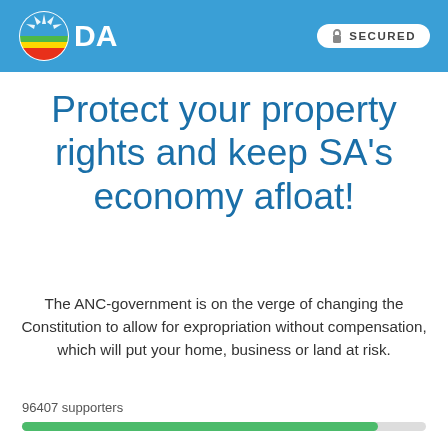DA — SECURED
Protect your property rights and keep SA's economy afloat!
The ANC-government is on the verge of changing the Constitution to allow for expropriation without compensation, which will put your home, business or land at risk.
96407 supporters